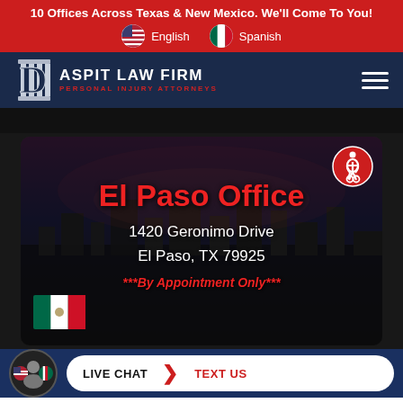10 Offices Across Texas & New Mexico. We'll Come To You!
English  Spanish
[Figure (logo): Daspit Law Firm - Personal Injury Attorneys logo with pillar icon]
[Figure (screenshot): El Paso Office location card with city skyline background, accessibility icon, address, and Mexico flag]
El Paso Office
1420 Geronimo Drive
El Paso, TX 79925
***By Appointment Only***
LIVE CHAT   TEXT US